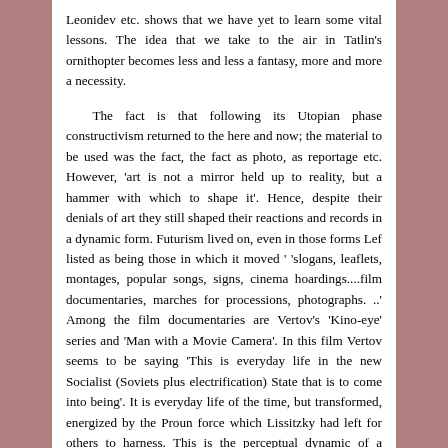Leonidev etc. shows that we have yet to learn some vital lessons. The idea that we take to the air in Tatlin's ornithopter becomes less and less a fantasy, more and more a necessity.

The fact is that following its Utopian phase constructivism returned to the here and now; the material to be used was the fact, the fact as photo, as reportage etc. However, 'art is not a mirror held up to reality, but a hammer with which to shape it'. Hence, despite their denials of art they still shaped their reactions and records in a dynamic form. Futurism lived on, even in those forms Lef listed as being those in which it moved ' 'slogans, leaflets, montages, popular songs, signs, cinema hoardings....film documentaries, marches for processions, photographs. ..' Among the film documentaries are Vertov's 'Kino-eye' series and 'Man with a Movie Camera'. In this film Vertov seems to be saying 'This is everyday life in the new Socialist (Soviets plus electrification) State that is to come into being'. It is everyday life of the time, but transformed, energized by the Proun force which Lissitzky had left for others to harness. This is the perceptual dynamic of a Revolutionary Society. 'Man with a Movie Camera'' is Utopian, but made with the elements of the present; as such it is also critique, critique of an actual monolithic State. The other side of the coin was then being developed in Paris. There, Breton, Aragon and others were aimlessly wandering the streets in search of